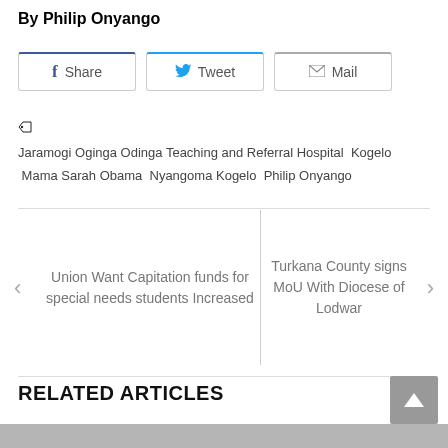By Philip Onyango
[Figure (infographic): Social share buttons: Facebook Share, Twitter Tweet, Mail]
Jaramogi Oginga Odinga Teaching and Referral Hospital  Kogelo  Mama Sarah Obama  Nyangoma Kogelo  Philip Onyango
Union Want Capitation funds for special needs students Increased
Turkana County signs MoU With Diocese of Lodwar
RELATED ARTICLES